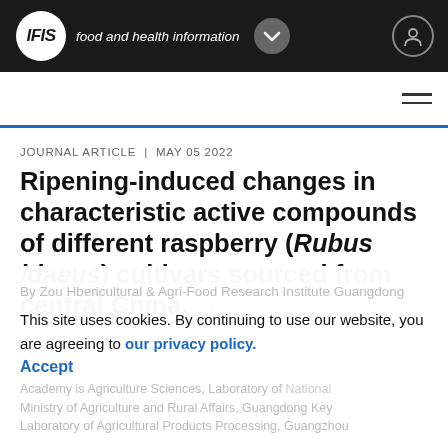IFIS food and health information
JOURNAL ARTICLE | MAY 05 2022
Ripening-induced changes in characteristic active compounds of different raspberry (Rubus idaeus) cultivars sourced from central China.
Lu Li Yu-juan Xu-lijun Wu Yuan-chen Yan Bo Zou-lian Peng
This site uses cookies. By continuing to use our website, you are agreeing to our privacy policy. Accept
By Zou Hbericultural & Agri-Food Research Institute Guangdong Academy is Agriculture Sciences, Laboratory of National, Ministry of Agriculture and Rural Affairs, Guangdong Key Laboratory of Agricultural Products Processing, Guangzhou